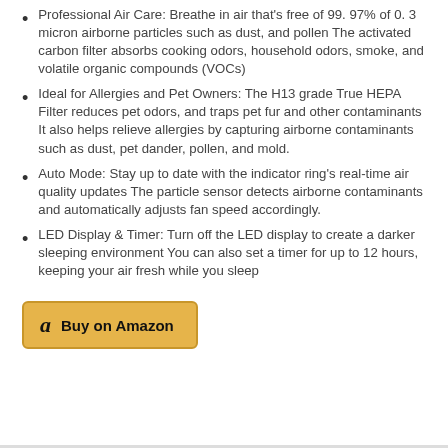Professional Air Care: Breathe in air that's free of 99. 97% of 0. 3 micron airborne particles such as dust, and pollen The activated carbon filter absorbs cooking odors, household odors, smoke, and volatile organic compounds (VOCs)
Ideal for Allergies and Pet Owners: The H13 grade True HEPA Filter reduces pet odors, and traps pet fur and other contaminants It also helps relieve allergies by capturing airborne contaminants such as dust, pet dander, pollen, and mold.
Auto Mode: Stay up to date with the indicator ring's real-time air quality updates The particle sensor detects airborne contaminants and automatically adjusts fan speed accordingly.
LED Display & Timer: Turn off the LED display to create a darker sleeping environment You can also set a timer for up to 12 hours, keeping your air fresh while you sleep
[Figure (other): Buy on Amazon button with Amazon logo]